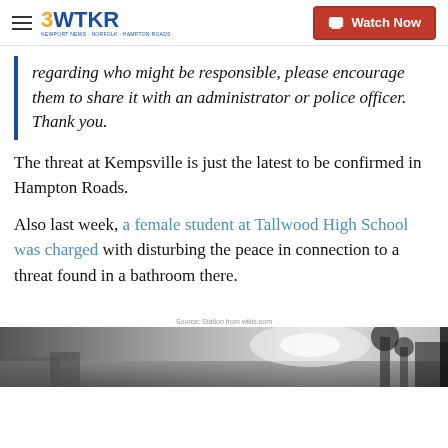3WTKR | Watch Now
regarding who might be responsible, please encourage them to share it with an administrator or police officer. Thank you.
The threat at Kempsville is just the latest to be confirmed in Hampton Roads.
Also last week, a female student at Tallwood High School was charged with disturbing the peace in connection to a threat found in a bathroom there.
Source: Station from wikis.com
[Figure (photo): Black and white exterior photo of a building or scene, partially visible at the bottom of the page.]